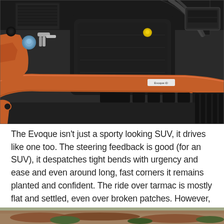[Figure (photo): Engine bay photo of a Range Rover Evoque showing the engine compartment with an orange/copper-colored strut brace, black engine cover, blue fluid reservoir, yellow oil cap, and various engine components. The front grille is visible at the right edge.]
The Evoque isn't just a sporty looking SUV, it drives like one too. The steering feedback is good (for an SUV), it despatches tight bends with urgency and ease and even around long, fast corners it remains planted and confident. The ride over tarmac is mostly flat and settled, even over broken patches. However, if you hit concrete undulations at low speeds it kind of throws you about uncomfortably.
[Figure (photo): Partial view of an aerial or landscape photo, showing terrain with brown/reddish earth and green vegetation at the bottom edge of the page.]